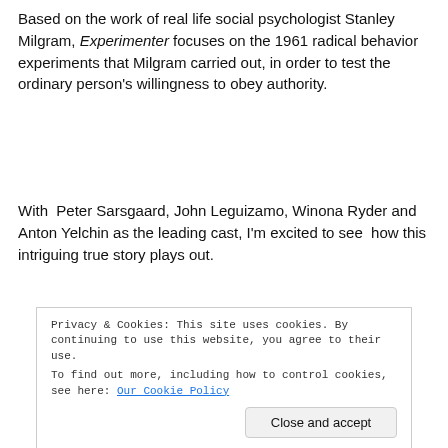Based on the work of real life social psychologist Stanley Milgram, Experimenter focuses on the 1961 radical behavior experiments that Milgram carried out, in order to test the ordinary person's willingness to obey authority.
With Peter Sarsgaard, John Leguizamo, Winona Ryder and Anton Yelchin as the leading cast, I'm excited to see how this intriguing true story plays out.
[Figure (screenshot): YouTube video embed showing 'Experimenter Official Trailer 1 (2015) ...' with an INDIE channel badge (purple circle) and a face visible in the video thumbnail background. A cookie consent overlay is displayed over the bottom portion.]
Privacy & Cookies: This site uses cookies. By continuing to use this website, you agree to their use. To find out more, including how to control cookies, see here: Our Cookie Policy
Close and accept